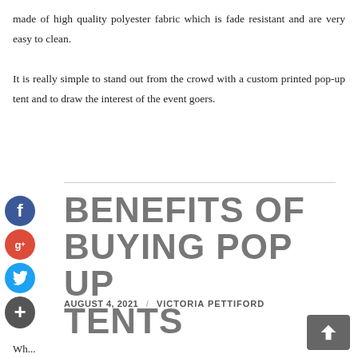made of high quality polyester fabric which is fade resistant and are very easy to clean.

It is really simple to stand out from the crowd with a custom printed pop-up tent and to draw the interest of the event goers.
BENEFITS OF BUYING POP UP TENTS
AUGUST 4, 2021  /  VICTORIA PETTIFORD
Wh...